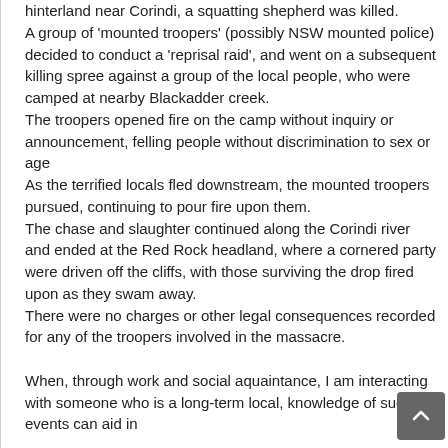hinterland near Corindi, a squatting shepherd was killed.
A group of 'mounted troopers' (possibly NSW mounted police) decided to conduct a 'reprisal raid', and went on a subsequent killing spree against a group of the local people, who were camped at nearby Blackadder creek.
The troopers opened fire on the camp without inquiry or announcement, felling people without discrimination to sex or age
As the terrified locals fled downstream, the mounted troopers pursued, continuing to pour fire upon them.
The chase and slaughter continued along the Corindi river and ended at the Red Rock headland, where a cornered party were driven off the cliffs, with those surviving the drop fired upon as they swam away.
There were no charges or other legal consequences recorded for any of the troopers involved in the massacre.

When, through work and social aquaintance, I am interacting with someone who is a long-term local, knowledge of such events can aid in